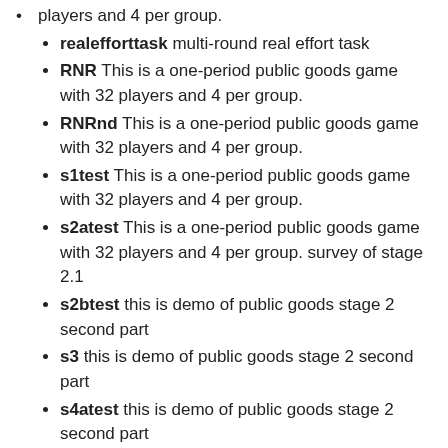players and 4 per group.
realefforttask multi-round real effort task
RNR This is a one-period public goods game with 32 players and 4 per group.
RNRnd This is a one-period public goods game with 32 players and 4 per group.
s1test This is a one-period public goods game with 32 players and 4 per group.
s2atest This is a one-period public goods game with 32 players and 4 per group. survey of stage 2.1
s2btest this is demo of public goods stage 2 second part
s3 this is demo of public goods stage 2 second part
s4atest this is demo of public goods stage 2 second part
s4btest this is demo of public goods stage 2 second part
s5atest this is demo of public goods stage 2 second part
s5btest this is demo of public goods stage 2 second part